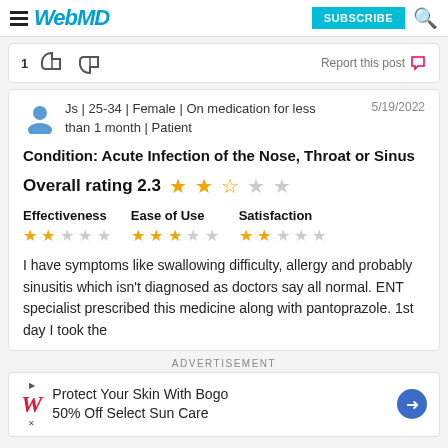WebMD
Report this post
Js | 25-34 | Female | On medication for less than 1 month | Patient
5/19/2022
Condition: Acute Infection of the Nose, Throat or Sinus
Overall rating 2.3
Effectiveness ★★☆☆☆  Ease of Use ★★★☆☆  Satisfaction ★★☆☆☆
I have symptoms like swallowing difficulty, allergy and probably sinusitis which isn't diagnosed as doctors say all normal. ENT specialist prescribed this medicine along with pantoprazole. 1st day I took the
ADVERTISEMENT
Protect Your Skin With Bogo 50% Off Select Sun Care